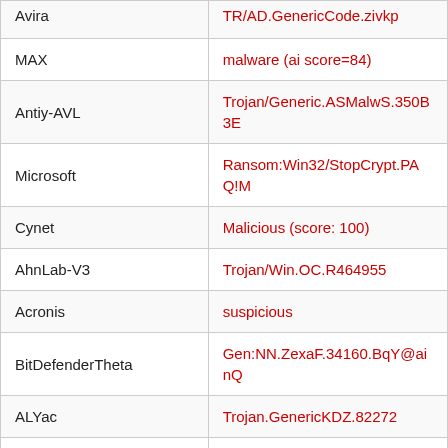| Vendor | Detection |
| --- | --- |
| Avira | TR/AD.GenericCode.zivkp |
| MAX | malware (ai score=84) |
| Antiy-AVL | Trojan/Generic.ASMalwS.350B3E |
| Microsoft | Ransom:Win32/StopCrypt.PAQ!ML |
| Cynet | Malicious (score: 100) |
| AhnLab-V3 | Trojan/Win.OC.R464955 |
| Acronis | suspicious |
| BitDefenderTheta | Gen:NN.ZexaF.34160.BqY@ainQ |
| ALYac | Trojan.GenericKDZ.82272 |
| VBA32 | BScope.TrojanSpy.Stealer |
| Malwarebytes | Trojan.MalPack.GS |
| Rising | Trojan.Kryptik!1.DB29 (CLASSIC) |